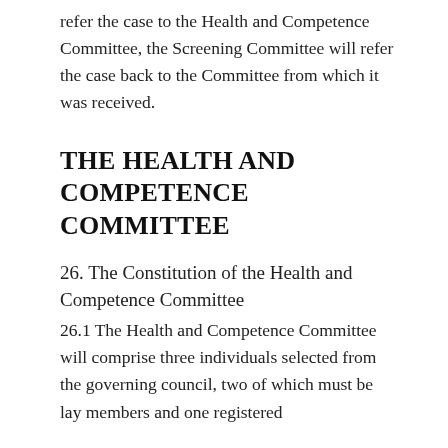refer the case to the Health and Competence Committee, the Screening Committee will refer the case back to the Committee from which it was received.
THE HEALTH AND COMPETENCE COMMITTEE
26. The Constitution of the Health and Competence Committee
26.1 The Health and Competence Committee will comprise three individuals selected from the governing council, two of which must be lay members and one registered